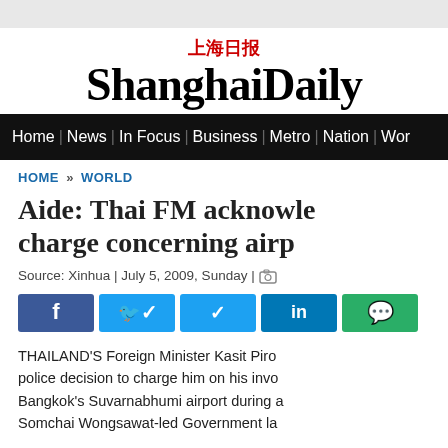上海日报 ShanghaiDaily
Home | News | In Focus | Business | Metro | Nation | Wor...
HOME » WORLD
Aide: Thai FM acknowledges charge concerning airpo...
Source: Xinhua | July 5, 2009, Sunday |
[Figure (infographic): Social share buttons: Facebook, Twitter, LinkedIn, WeChat]
THAILAND'S Foreign Minister Kasit Piro... police decision to charge him on his invo... Bangkok's Suvarnabhumi airport during a... Somchai Wongsawat-led Government la...